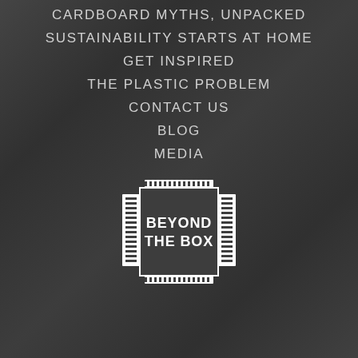CARDBOARD MYTHS, UNPACKED
SUSTAINABILITY STARTS AT HOME
GET INSPIRED
THE PLASTIC PROBLEM
CONTACT US
BLOG
MEDIA
[Figure (logo): Beyond The Box logo — white icon resembling a flattened open box with corrugated edges, with bold white text 'BEYOND THE BOX' centered inside]